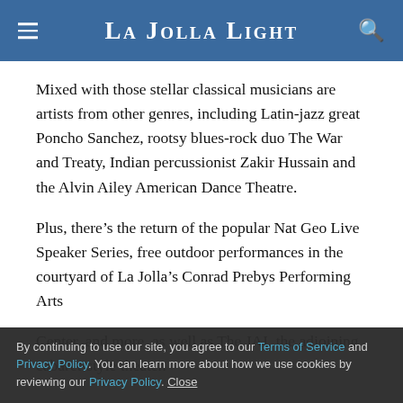La Jolla Light
Mixed with those stellar classical musicians are artists from other genres, including Latin-jazz great Poncho Sanchez, rootsy blues-rock duo The War and Treaty, Indian percussionist Zakir Hussain and the Alvin Ailey American Dance Theatre.
Plus, there’s the return of the popular Nat Geo Live Speaker Series, free outdoor performances in the courtyard of La Jolla’s Conrad Prebys Performing Arts Center, and more, as well as The JAI, the adjoining cabaret-style theater.
By continuing to use our site, you agree to our Terms of Service and Privacy Policy. You can learn more about how we use cookies by reviewing our Privacy Policy. Close